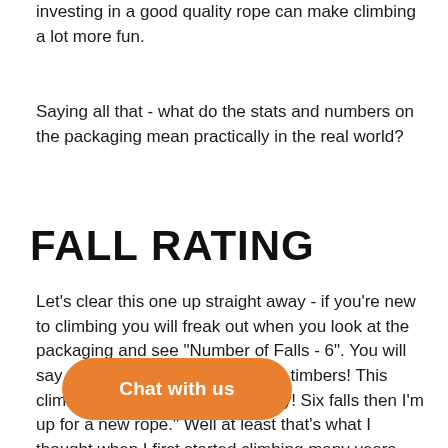investing in a good quality rope can make climbing a lot more fun.
Saying all that - what do the stats and numbers on the packaging mean practically in the real world?
FALL RATING
Let's clear this one up straight away - if you're new to climbing you will freak out when you look at the packaging and see "Number of Falls - 6". You will say under your breath "shiver me timbers! This climbing thing is going to get pricy! Six falls then I'm up for a new rope." Well at least that's what I thought when I first started climbing many years ago. The truth however is that the test for this UIAA Fall Rating is crazy harsh and if you were to take every fall that are conducted in this test yourself you would be lucky to walk away with your pelvis and future climbing aspirations still in tact. In fact, even getting